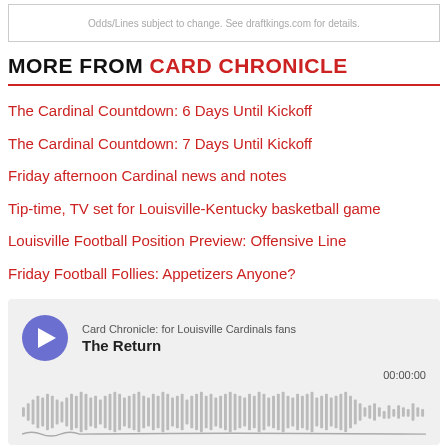Odds/Lines subject to change. See draftkings.com for details.
MORE FROM CARD CHRONICLE
The Cardinal Countdown: 6 Days Until Kickoff
The Cardinal Countdown: 7 Days Until Kickoff
Friday afternoon Cardinal news and notes
Tip-time, TV set for Louisville-Kentucky basketball game
Louisville Football Position Preview: Offensive Line
Friday Football Follies: Appetizers Anyone?
[Figure (other): Podcast widget for Card Chronicle: for Louisville Cardinals fans, episode titled The Return, with play button and audio waveform, time 00:00:00]